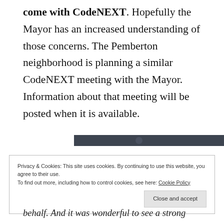come with CodeNEXT. Hopefully the Mayor has an increased understanding of those concerns. The Pemberton neighborhood is planning a similar CodeNEXT meeting with the Mayor. Information about that meeting will be posted when it is available.
[Figure (other): Dark gray advertisement banner bar with 'REPORT THIS AD' label below it]
Privacy & Cookies: This site uses cookies. By continuing to use this website, you agree to their use.
To find out more, including how to control cookies, see here: Cookie Policy

Close and accept
behalf. And it was wonderful to see a strong